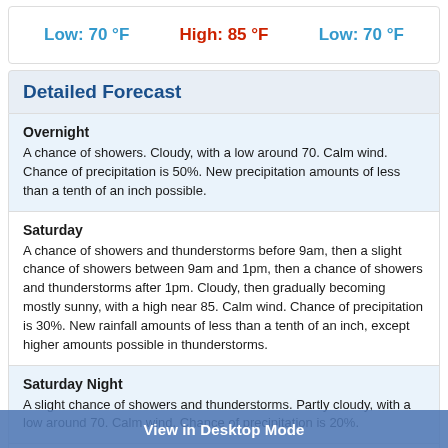Low: 70 °F   High: 85 °F   Low: 70 °F
Detailed Forecast
Overnight
A chance of showers. Cloudy, with a low around 70. Calm wind. Chance of precipitation is 50%. New precipitation amounts of less than a tenth of an inch possible.
Saturday
A chance of showers and thunderstorms before 9am, then a slight chance of showers between 9am and 1pm, then a chance of showers and thunderstorms after 1pm. Cloudy, then gradually becoming mostly sunny, with a high near 85. Calm wind. Chance of precipitation is 30%. New rainfall amounts of less than a tenth of an inch, except higher amounts possible in thunderstorms.
Saturday Night
A slight chance of showers and thunderstorms. Partly cloudy, with a low around 70. Calm wind. Chance of precipitation is 20%.
Sunday
A chance of showers before 8am, then a chance of showers and thunderstorms between 8am and 2pm, then showers likely and possibly a thunderstorm after 2pm. Mostly cloudy, with a high near 85. Winds southwest around 5 mph in the afternoon. Chance of precipitation is 70%. New rainfall amounts between a tenth
View in Desktop Mode